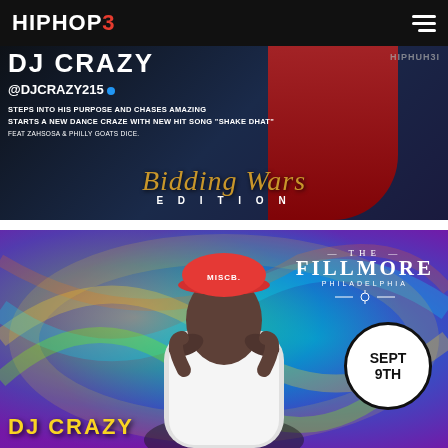HIPHOP3
[Figure (photo): DJ Crazy promotional banner with dark background, red figure silhouette, text: DJ CRAZY @DJCRAZY215, STEPS INTO HIS PURPOSE AND CHASES AMAZING, STARTS A NEW DANCE CRAZE WITH NEW HIT SONG 'SHAKE DHAT', FEAT ZAHSOSA & PHILLY GOATS DICE. Bidding Wars Edition text in gold script.]
[Figure (photo): DJ Crazy at The Fillmore Philadelphia promotional image. Person wearing MISCB cap with psychedelic blue/yellow swirl background. The Fillmore Philadelphia logo top right, SEPT 9TH in black circle badge, DJ CRAZY text in yellow at bottom.]